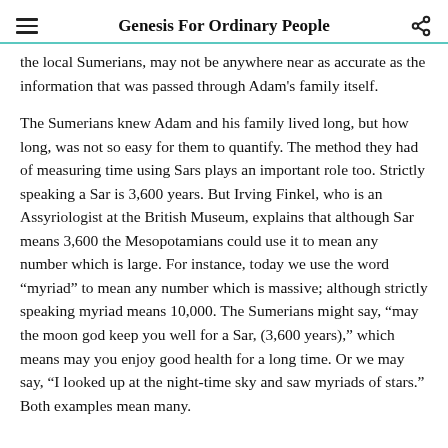Genesis For Ordinary People
the local Sumerians, may not be anywhere near as accurate as the information that was passed through Adam's family itself.
The Sumerians knew Adam and his family lived long, but how long, was not so easy for them to quantify. The method they had of measuring time using Sars plays an important role too. Strictly speaking a Sar is 3,600 years. But Irving Finkel, who is an Assyriologist at the British Museum, explains that although Sar means 3,600 the Mesopotamians could use it to mean any number which is large. For instance, today we use the word “myriad” to mean any number which is massive; although strictly speaking myriad means 10,000. The Sumerians might say, “may the moon god keep you well for a Sar, (3,600 years),” which means may you enjoy good health for a long time. Or we may say, “I looked up at the night-time sky and saw myriads of stars.” Both examples mean many.